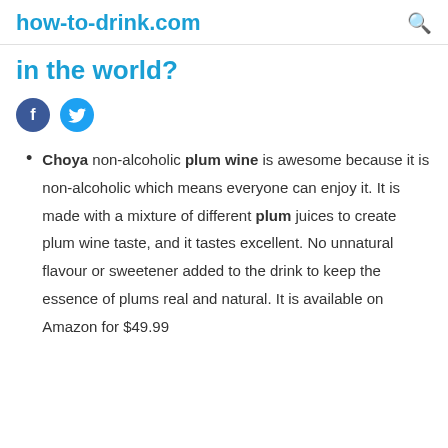how-to-drink.com
in the world?
Choya non-alcoholic plum wine is awesome because it is non-alcoholic which means everyone can enjoy it. It is made with a mixture of different plum juices to create plum wine taste, and it tastes excellent. No unnatural flavour or sweetener added to the drink to keep the essence of plums real and natural. It is available on Amazon for $49.99